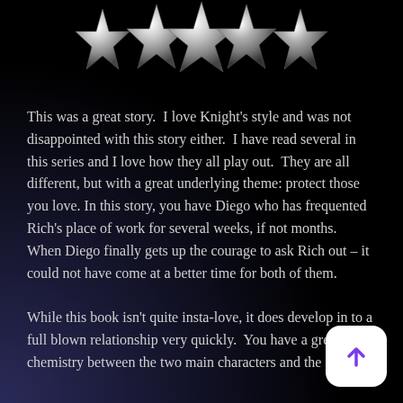[Figure (illustration): Five metallic silver 3D stars arranged in a row at the top of the page on a dark background, representing a 5-star rating.]
This was a great story.  I love Knight's style and was not disappointed with this story either.  I have read several in this series and I love how they all play out.  They are all different, but with a great underlying theme: protect those you love.  In this story, you have Diego who has frequented Rich's place of work for several weeks, if not months.  When Diego finally gets up the courage to ask Rich out – it could not have come at a better time for both of them.
While this book isn't quite insta-love, it does develop in to a full blown relationship very quickly.  You have a great chemistry between the two main characters and the
[Figure (other): White rounded-rectangle scroll-to-top button with a purple upward arrow icon, positioned at bottom right.]